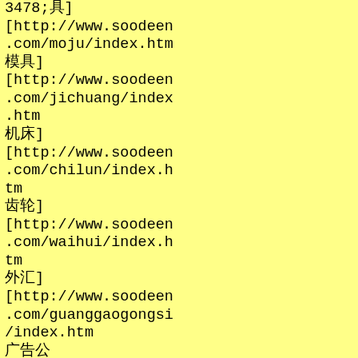3478;&#20855;][http://www.soodeen.com/moju/index.htm &#27169;&#20855;][http://www.soodeen.com/jichuang/index.htm &#26426;&#24202;][http://www.soodeen.com/chilun/index.htm &#40831;&#36718;][http://www.soodeen.com/waihui/index.htm &#22806;&#27719;][http://www.soodeen.com/guanggaogongsi/index.htm &#24191;&#21578;&#20844;&#21496;][http://www.soodeen.com/yasi/index.htm &#38597;&#24605;][http://www.soodeen.com/